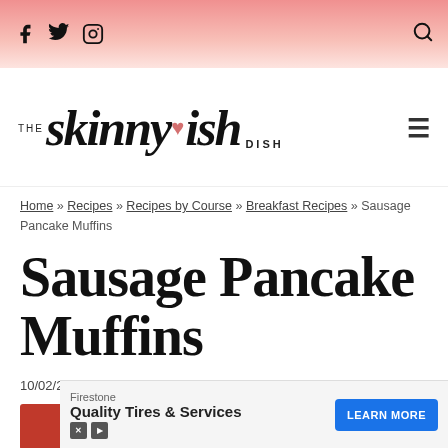The Skinny-ish Dish — social icons header with Facebook, Twitter, Instagram, and search
[Figure (logo): The Skinny-ish Dish logo in script font]
Home » Recipes » Recipes by Course » Breakfast Recipes » Sausage Pancake Muffins
Sausage Pancake Muffins
10/02/2020
[Figure (infographic): Pinterest and Facebook share buttons]
[Figure (infographic): Firestone ad: Quality Tires & Services, LEARN MORE button]